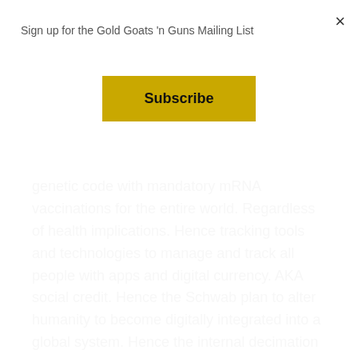Sign up for the Gold Goats 'n Guns Mailing List
Subscribe
genetic code with mandatory mRNA vaccinations for the entire world. Regardless of health implications. Hence tracking tools and technologies to manage and track all people with apps and digital currency. AKA social credit. Hence the Schwab plan to alter humanity to become digitally integrated into a global system. Hence the internal decimation of nations by their own elected leaders, towards fostering their new order. Hence the lies